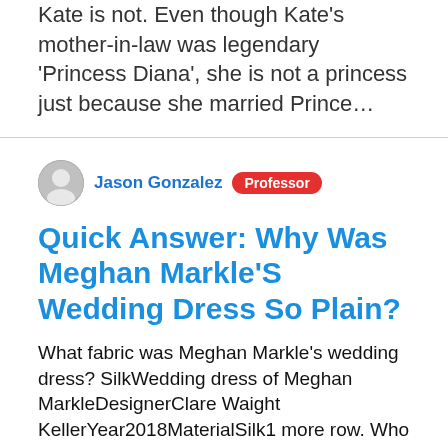Kate is not. Even though Kate's mother-in-law was legendary 'Princess Diana', she is not a princess just because she married Prince…
Jason Gonzalez  Professor
Quick Answer: Why Was Meghan Markle'S Wedding Dress So Plain?
What fabric was Meghan Markle's wedding dress? SilkWedding dress of Meghan MarkleDesignerClare Waight KellerYear2018MaterialSilk1 more row. Who chose Princess Diana's wedding dress? Wedding dress of Lady Diana SpencerArtistDavid and Elizabeth EmanuelYear1981TypeIvory silk taffeta and antique lace gown1 more row How much did